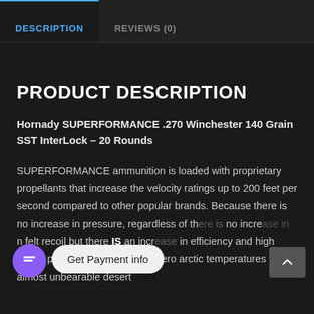DESCRIPTION | REVIEWS (0)
PRODUCT DESCRIPTION
Hornady SUPERFORMANCE .270 Winchester 140 Grain SST InterLock – 20 Rounds
SUPERFORMANCE ammunition is loaded with proprietary propellants that increase the velocity ratings up to 200 feet per second compared to other popular brands. Because there is no increase in pressure, regardless of th... er... n felt recoil but there IS an increase in efficiency and high speed performance. From sub-zero arctic temperatures to almost unbearable desert